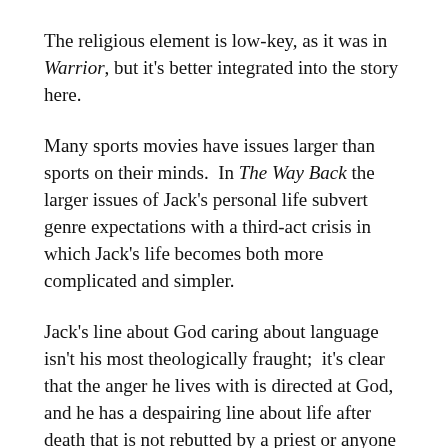The religious element is low-key, as it was in Warrior, but it's better integrated into the story here.
Many sports movies have issues larger than sports on their minds. In The Way Back the larger issues of Jack's personal life subvert genre expectations with a third-act crisis in which Jack's life becomes both more complicated and simpler.
Jack's line about God caring about language isn't his most theologically fraught; it's clear that the anger he lives with is directed at God, and he has a despairing line about life after death that is not rebutted by a priest or anyone else. On the other hand, a priest-led prayer before the final game stands in significant contrast to the limitations that Jack, even at his best, brought to his coaching style and attitude.